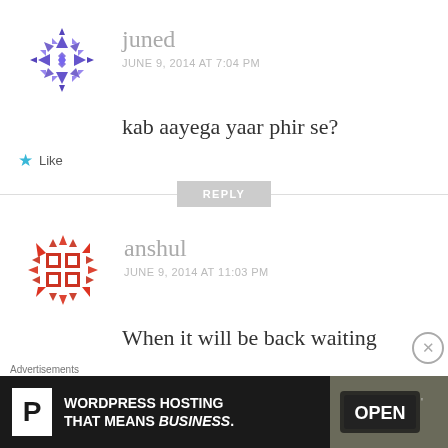[Figure (logo): Purple geometric snowflake/avatar icon for user juned]
juned
JUNE 9, 2014 AT 7:04 PM
kab aayega yaar phir se?
★ Like
REPLY
[Figure (logo): Red geometric snowflake/avatar icon for user anshul]
anshul
JUNE 9, 2014 AT 11:03 PM
When it will be back waiting
Advertisements
[Figure (infographic): WordPress Hosting That Means BUSINESS. advertisement banner with P logo and OPEN sign photo]